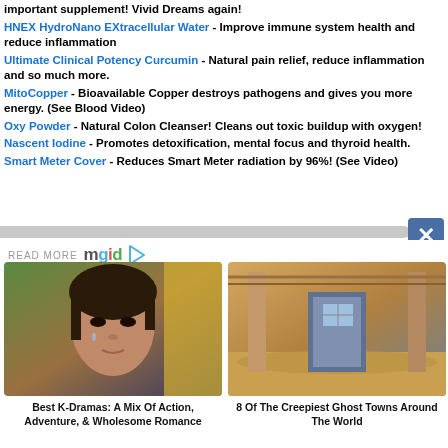important supplement! Vivid Dreams again! HNEX HydroNano EXtracellular Water - Improve immune system health and reduce inflammation
Ultimate Clinical Potency Curcumin - Natural pain relief, reduce inflammation and so much more.
MitoCopper - Bioavailable Copper destroys pathogens and gives you more energy. (See Blood Video)
Oxy Powder - Natural Colon Cleanser! Cleans out toxic buildup with oxygen!
Nascent Iodine - Promotes detoxification, mental focus and thyroid health.
Smart Meter Cover - Reduces Smart Meter radiation by 96%! (See Video)
READ MORE mgid
[Figure (photo): Close-up of a woman's face with tears, dramatic expression, outdoor background with yellow building]
Best K-Dramas: A Mix Of Action, Adventure, & Wholesome Romance
[Figure (photo): Interior of abandoned sandy desert building with open doorway and window]
8 Of The Creepiest Ghost Towns Around The World